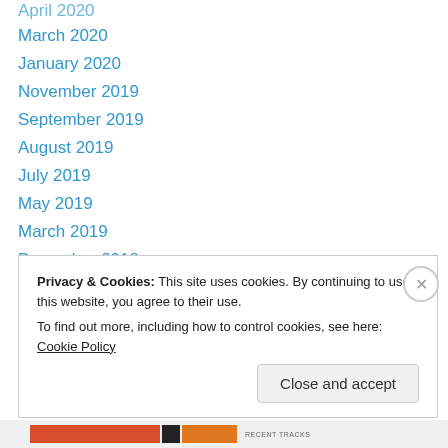April 2020
March 2020
January 2020
November 2019
September 2019
August 2019
July 2019
May 2019
March 2019
December 2018
August 2018
April 2018
December 2017
September 2017
Privacy & Cookies: This site uses cookies. By continuing to use this website, you agree to their use.
To find out more, including how to control cookies, see here: Cookie Policy
Close and accept